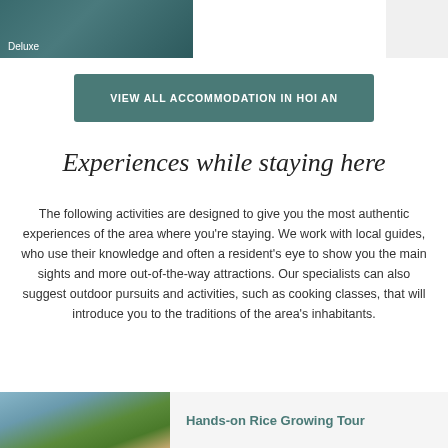[Figure (photo): Top image bar showing accommodation photo with 'Deluxe' label overlay]
VIEW ALL ACCOMMODATION IN HOI AN
Experiences while staying here
The following activities are designed to give you the most authentic experiences of the area where you're staying. We work with local guides, who use their knowledge and often a resident's eye to show you the main sights and more out-of-the-way attractions. Our specialists can also suggest outdoor pursuits and activities, such as cooking classes, that will introduce you to the traditions of the area's inhabitants.
[Figure (photo): Photo of people working in rice fields]
Hands-on Rice Growing Tour